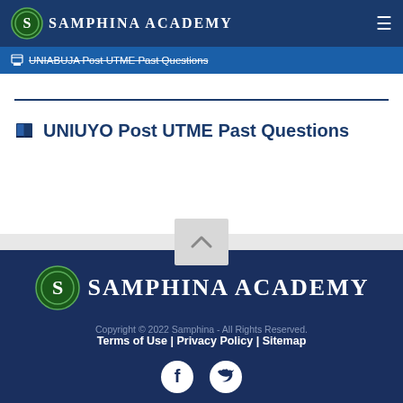SAMPHINA ACADEMY
UNIABUJA Post UTME Past Questions
UNIUYO Post UTME Past Questions
[Figure (logo): Samphina Academy footer logo with large S emblem in green circle]
Copyright © 2022 Samphina - All Rights Reserved.
Terms of Use | Privacy Policy | Sitemap